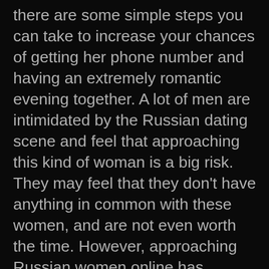there are some simple steps you can take to increase your chances of getting her phone number and having an extremely romantic evening together. A lot of men are intimidated by the Russian dating scene and feel that approaching this kind of woman is a big risk. They may feel that they don't have anything in common with these women, and are not even worth the time. However, approaching Russian women online has become a very popular trend recently, because there are just so many beautiful women from this region that it's really not easy to keep up with them all.